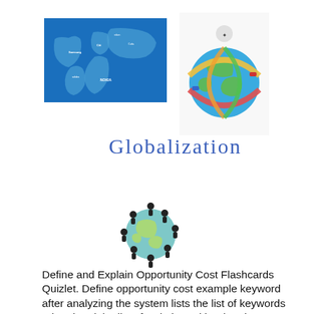[Figure (illustration): World map made of corporate brand logos on blue background (globalization theme illustration)]
[Figure (illustration): Colorful cartoon globe with people and vehicles circling around it]
Globalization
[Figure (illustration): Cartoon globe surrounded by silhouettes of people holding hands around it]
Define and Explain Opportunity Cost Flashcards Quizlet. Define opportunity cost example keyword after analyzing the system lists the list of keywords related and the list of websites with related content, in addition you